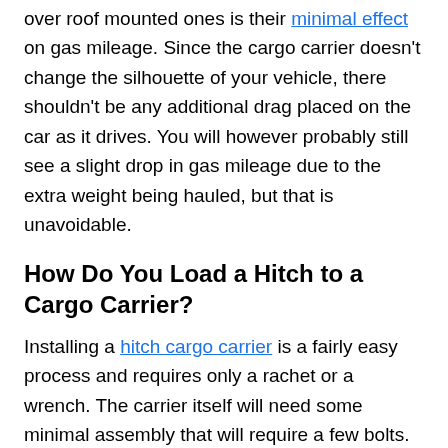over roof mounted ones is their minimal effect on gas mileage. Since the cargo carrier doesn't change the silhouette of your vehicle, there shouldn't be any additional drag placed on the car as it drives. You will however probably still see a slight drop in gas mileage due to the extra weight being hauled, but that is unavoidable.
How Do You Load a Hitch to a Cargo Carrier?
Installing a hitch cargo carrier is a fairly easy process and requires only a rachet or a wrench. The carrier itself will need some minimal assembly that will require a few bolts. Once assembled, the carrier slides right into your hitch with a few bolts